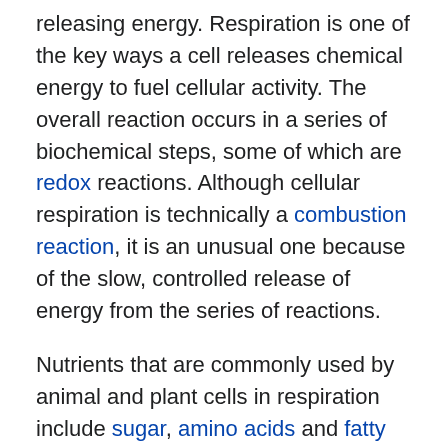releasing energy. Respiration is one of the key ways a cell releases chemical energy to fuel cellular activity. The overall reaction occurs in a series of biochemical steps, some of which are redox reactions. Although cellular respiration is technically a combustion reaction, it is an unusual one because of the slow, controlled release of energy from the series of reactions.

Nutrients that are commonly used by animal and plant cells in respiration include sugar, amino acids and fatty acids, and the most common oxidizing agent is molecular oxygen (O₂). The chemical energy stored in ATP (the bond of its third phosphate group to the rest of the molecule can be broken allowing more stable products to form, thereby releasing energy for use by the cell) can then be used to drive processes requiring energy, including biosynthesis, locomotion or transport of molecules across cell